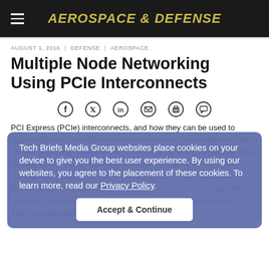AEROSPACE & DEFENSE
AUGUST 1, 2016  |  DEFENSE  |  AEROSPACE
Multiple Node Networking Using PCIe Interconnects
[Figure (other): Social sharing icons: Facebook, Twitter, LinkedIn, Email, Print, Comment]
PCI Express (PCIe) interconnects, and how they can be used to support multiple node low-latency data transfers over copper or optical cables, is gaining momentum in embedded computing solutions. Many current "out-of-the-box" solutions are being used to interconnect standard Intel-based servers in traditional commercial computer environments to shared I/O devices on Windows or Linux operating systems. Now emerging is the use of PCIe to provide box-to-box external data paths between rugged embedded systems as well as for the internal data paths in
Tech Briefs Media Group websites place cookies on your device to give you the best user experience. By using our websites, you agree to the placement of these cookies. To learn more, read our Privacy Policy.
Accept & Continue